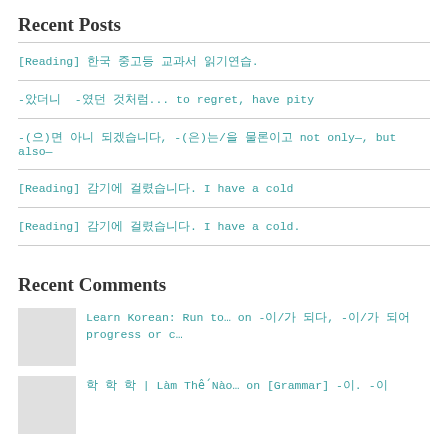Recent Posts
[Reading] 한국 중고등 교과서 읽기연습.
-았더니  -였던 것처럼... to regret, have pity
-(으)면 아니 되겠습니다, -(은)는/을 물론이고 not only—, but also—
[Reading] 감기에 걸렸습니다. I have a cold
[Reading] 감기에 걸렸습니다. I have a cold.
Recent Comments
Learn Korean: Run to… on -이/가 되다, -이/가 되어 progress or c…
학 학 학 | Làm Thế Nào… on [Grammar] -이. -이